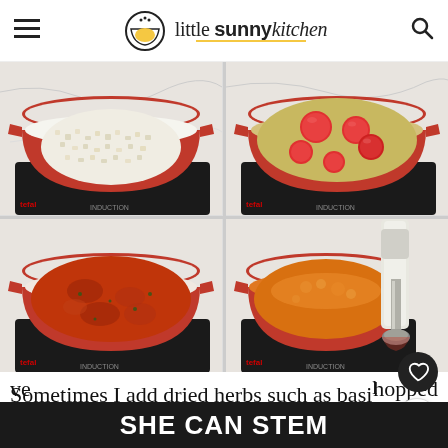little sunny kitchen
[Figure (photo): Four-panel cooking process photos showing: top-left - diced onions in red Dutch oven, top-right - cherry tomatoes added to broth in red Dutch oven, bottom-left - cooked tomato mixture in red Dutch oven, bottom-right - blended orange soup being pureed with immersion blender in red Dutch oven]
Sometimes I add dried herbs such as basil and oregano to my soup along with the ve[getables...] chopped
[Figure (infographic): Advertisement banner: SHE CAN STEM]